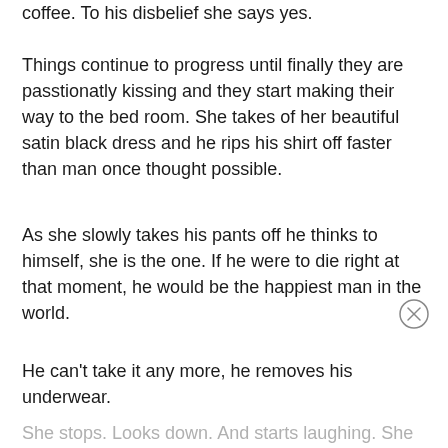coffee. To his disbelief she says yes.
Things continue to progress until finally they are passtionatly kissing and they start making their way to the bed room. She takes of her beautiful satin black dress and he rips his shirt off faster than man once thought possible.
As she slowly takes his pants off he thinks to himself, she is the one. If he were to die right at that moment, he would be the happiest man in the world.
He can't take it any more, he removes his underwear.
She stops. Looks down. And starts laughing. She